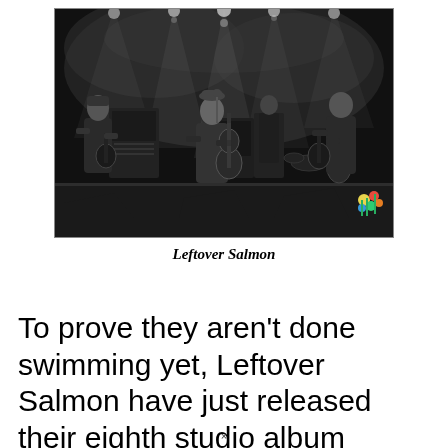[Figure (photo): Black and white concert photo of Leftover Salmon performing on stage. Three musicians visible in the foreground — one on the left playing guitar, one in the center singing into a microphone while playing an acoustic guitar, one on the right also playing guitar. Stage lights and smoke visible in the background. A small colorful item visible at bottom right.]
Leftover Salmon
To prove they aren't done swimming yet, Leftover Salmon have just released their eighth studio album entitled High Country
×